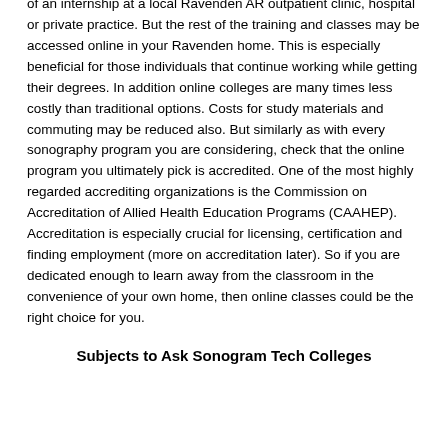of an internship at a local Ravenden AR outpatient clinic, hospital or private practice. But the rest of the training and classes may be accessed online in your Ravenden home. This is especially beneficial for those individuals that continue working while getting their degrees. In addition online colleges are many times less costly than traditional options. Costs for study materials and commuting may be reduced also. But similarly as with every sonography program you are considering, check that the online program you ultimately pick is accredited. One of the most highly regarded accrediting organizations is the Commission on Accreditation of Allied Health Education Programs (CAAHEP). Accreditation is especially crucial for licensing, certification and finding employment (more on accreditation later). So if you are dedicated enough to learn away from the classroom in the convenience of your own home, then online classes could be the right choice for you.
Subjects to Ask Sonogram Tech Colleges